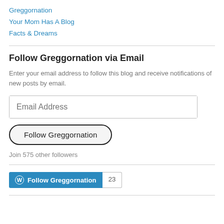Greggornation
Your Mom Has A Blog
Facts & Dreams
Follow Greggornation via Email
Enter your email address to follow this blog and receive notifications of new posts by email.
Email Address
Follow Greggornation
Join 575 other followers
[Figure (other): WordPress Follow Greggornation button with count badge showing 23]
Follow Greggornation  23